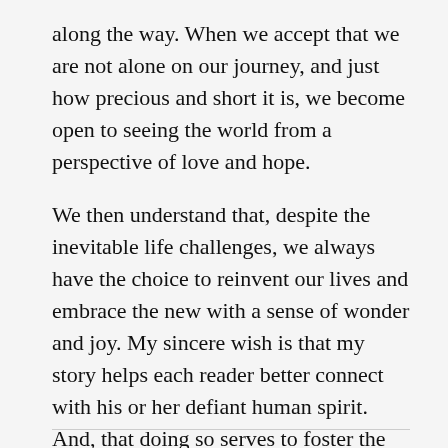along the way. When we accept that we are not alone on our journey, and just how precious and short it is, we become open to seeing the world from a perspective of love and hope.
We then understand that, despite the inevitable life challenges, we always have the choice to reinvent our lives and embrace the new with a sense of wonder and joy. My sincere wish is that my story helps each reader better connect with his or her defiant human spirit. And, that doing so serves to foster the pursuit of the uniquely rich, extraordinary life that awaits every one of us.